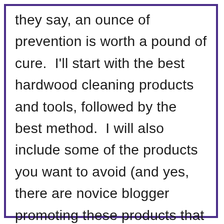they say, an ounce of prevention is worth a pound of cure.  I'll start with the best hardwood cleaning products and tools, followed by the best method.  I will also include some of the products you want to avoid (and yes, there are novice blogger promoting these products that actually damage your hardwood floors).